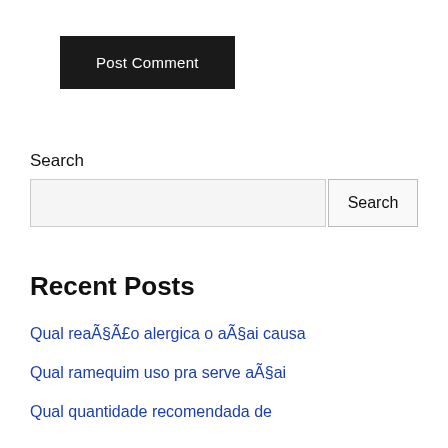[Figure (other): Dark/black button labeled 'Post Comment']
Search
[Figure (other): Search input field with 'Search' button on the right]
Recent Posts
Qual reaÃ§Ã£o alergica o aÃ§ai causa
Qual ramequim uso pra serve aÃ§ai
Qual quantidade recomendada de